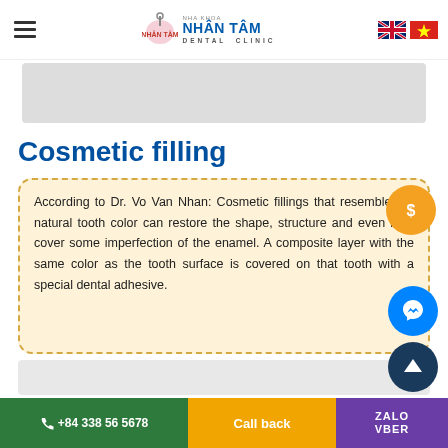NHA KHOA NHÂN TÂM DENTAL CLINIC
[Figure (illustration): Gray advertisement banner placeholder]
Cosmetic filling
According to Dr. Vo Van Nhan: Cosmetic fillings that resemble the natural tooth color can restore the shape, structure and even help cover some imperfection of the enamel. A composite layer with the same color as the tooth surface is covered on that tooth with a special dental adhesive.
+84 338 56 5678 | Call back | ZALO | VBER